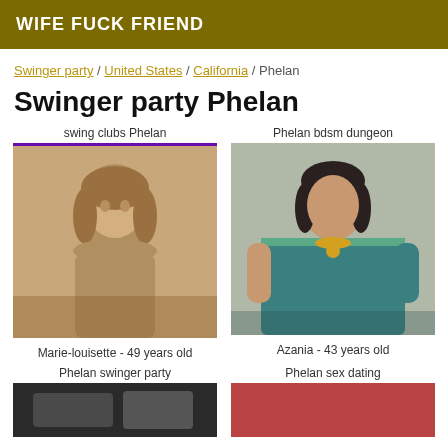WIFE FUCK FRIEND
Swinger party / United States / California / Phelan
Swinger party Phelan
swing clubs Phelan
[Figure (photo): Sepia-toned photo of a middle-aged blonde woman, Marie-louisette, 49 years old]
Marie-louisette - 49 years old
Phelan bdsm dungeon
[Figure (photo): Color photo of a woman in a teal sari with gold jewelry, Azania, 43 years old]
Azania - 43 years old
Phelan swinger party
[Figure (photo): Partially visible photo, dark tones]
Phelan sex dating
[Figure (photo): Partially visible photo, red tones]